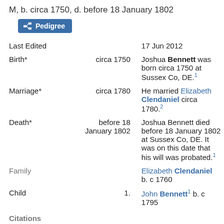M, b. circa 1750, d. before 18 January 1802
Pedigree
| Event | Date | Details |
| --- | --- | --- |
| Last Edited |  | 17 Jun 2012 |
| Birth* | circa 1750 | Joshua Bennett was born circa 1750 at Sussex Co, DE.1 |
| Marriage* | circa 1780 | He married Elizabeth Clendaniel circa 1780.2 |
| Death* | before 18 January 1802 | Joshua Bennett died before 18 January 1802 at Sussex Co, DE. It was on this date that his will was probated.1 |
| Family |  | Elizabeth Clendaniel b. c 1760 |
| Child | 1. | John Bennett1 b. c 1795 |
Citations